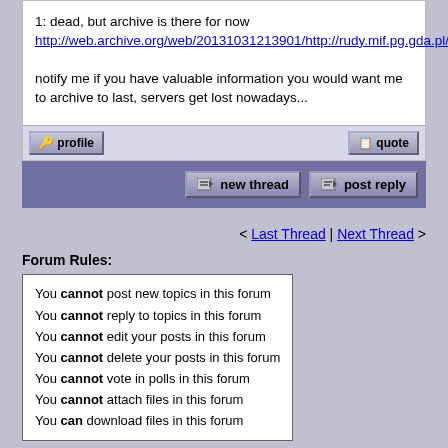1: dead, but archive is there for now http://web.archive.org/web/20131031213901/http://rudy.mif.pg.gda.pl/~bogdro

notify me if you have valuable information you would want me to archive to last, servers get lost nowadays...
[Figure (screenshot): Forum post action buttons: profile and quote]
[Figure (screenshot): Forum thread action buttons: new thread and post reply]
< Last Thread | Next Thread >
Forum Rules:
You cannot post new topics in this forum
You cannot reply to topics in this forum
You cannot edit your posts in this forum
You cannot delete your posts in this forum
You cannot vote in polls in this forum
You cannot attach files in this forum
You can download files in this forum
Main index   Download   Documentation   Examples   Message board
Copyright © 1999-2020, Tomasz Grysztar. Also on GitHub, YouTube, Twitter.
Website powered by rwasa.